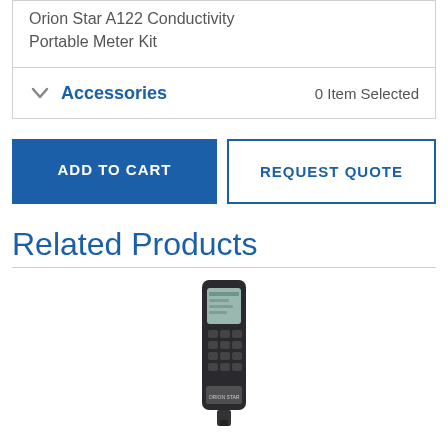Orion Star A122 Conductivity Portable Meter Kit
Accessories
0 Item Selected
ADD TO CART
REQUEST QUOTE
Related Products
[Figure (photo): Photo of a handheld portable conductivity meter device (Orion Star series), dark grey/black color with LCD display and keypad buttons, shown vertically oriented]